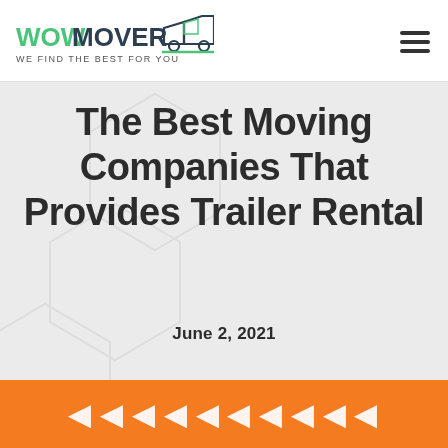[Figure (logo): WowMover logo with truck graphic and tagline 'WE FIND THE BEST FOR YOU']
The Best Moving Companies That Provides Trailer Rental
June 2, 2021
[Figure (other): Orange banner partially visible at bottom of page]